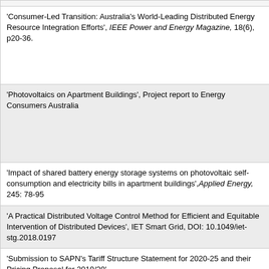'Consumer-Led Transition: Australia's World-Leading Distributed Energy Resource Integration Efforts', IEEE Power and Energy Magazine, 18(6), p20-36.
'Photovoltaics on Apartment Buildings', Project report to Energy Consumers Australia
'Impact of shared battery energy storage systems on photovoltaic self-consumption and electricity bills in apartment buildings', Applied Energy, 245: 78-95
'A Practical Distributed Voltage Control Method for Efficient and Equitable Intervention of Distributed Devices', IET Smart Grid, DOI: 10.1049/iet-stg.2018.0197
'Submission to SAPN's Tariff Structure Statement for 2020-25 and their Pricing Proposal for 2019/20'